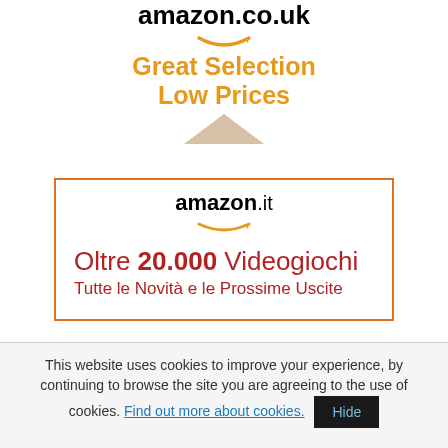[Figure (advertisement): Amazon.co.uk advertisement with logo, smile icon, text 'Great Selection Low Prices' in orange, and a decorative pyramid/triangle image]
[Figure (advertisement): Amazon.it advertisement with orange-bordered box, amazon.it logo with smile, Italian text 'Oltre 20.000 Videogiochi Tutte le Novità e le Prossime Uscite' in dark red]
This website uses cookies to improve your experience, by continuing to browse the site you are agreeing to the use of cookies. Find out more about cookies. Hide